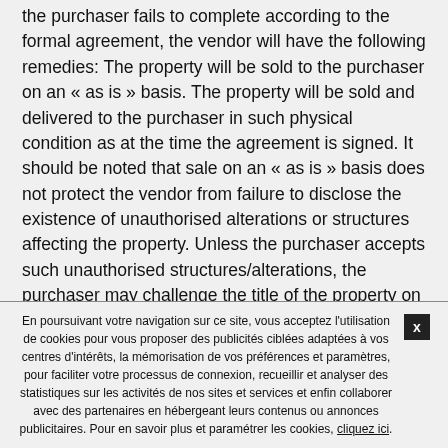the purchaser fails to complete according to the formal agreement, the vendor will have the following remedies: The property will be sold to the purchaser on an « as is » basis. The property will be sold and delivered to the purchaser in such physical condition as at the time the agreement is signed. It should be noted that sale on an « as is » basis does not protect the vendor from failure to disclose the existence of unauthorised alterations or structures affecting the property. Unless the purchaser accepts such unauthorised structures/alterations, the purchaser may challenge the title of the property on this basis. The judgment of the above case also revealed that if the provisional agreement contains such clause as
En poursuivant votre navigation sur ce site, vous acceptez l'utilisation de cookies pour vous proposer des publicités ciblées adaptées à vos centres d'intérêts, la mémorisation de vos préférences et paramètres, pour faciliter votre processus de connexion, recueillir et analyser des statistiques sur les activités de nos sites et services et enfin collaborer avec des partenaires en hébergeant leurs contenus ou annonces publicitaires. Pour en savoir plus et paramétrer les cookies, cliquez ici.